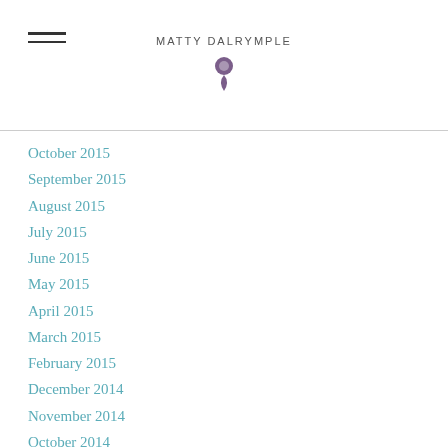Matty Dalrymple
October 2015
September 2015
August 2015
July 2015
June 2015
May 2015
April 2015
March 2015
February 2015
December 2014
November 2014
October 2014
August 2014
July 2014
June 2014
May 2014
April 2014